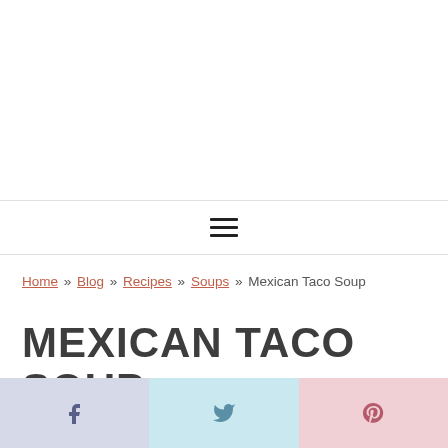≡ (navigation menu)
Home » Blog » Recipes » Soups » Mexican Taco Soup
MEXICAN TACO SOUP
[Figure (other): Social share buttons: Facebook (f), Twitter bird icon, Pinterest (P)]